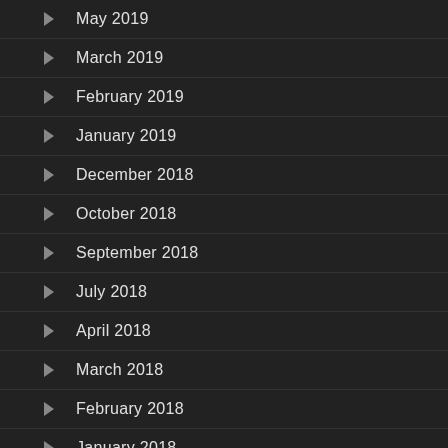May 2019
March 2019
February 2019
January 2019
December 2018
October 2018
September 2018
July 2018
April 2018
March 2018
February 2018
January 2018